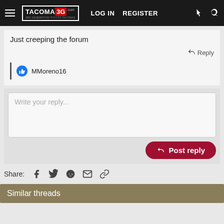TACOMA 3G - LOG IN  REGISTER
Just creeping the forum
Reply
MMoreno16
Write your reply...
Post reply
Share:
Similar threads